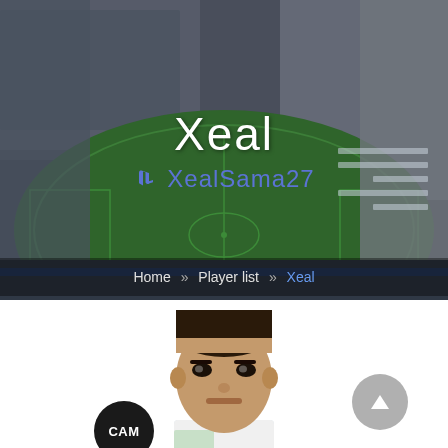[Figure (screenshot): Aerial view of a large football stadium with green pitch, packed with spectators, used as a header background image.]
Xeal
XealSama27
Home » Player list » Xeal
[Figure (photo): Close-up photo of a male football player's face and upper body wearing a white and green jersey, with a CAM position badge overlaid at the bottom.]